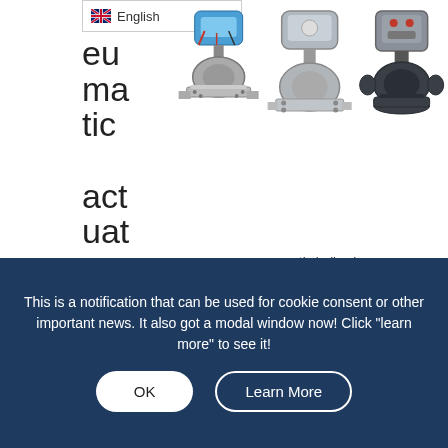[Figure (screenshot): English language selector dropdown at top of page]
[Figure (photo): Three pneumatic ball valves shown side by side — left: blue electric actuator with flanged steel body, center: silver flanged ball valve, right: dark grey plastic ball valve with pneumatic actuator]
pneumatic ball valve
pneumatic actuator of the pneumatic ball valve is mainly divided into single-acting and double-acting. The pneumatic head is equipped with accessories such as triple pieces, positioners, limit switches, etc., which can be used as a throttle to adjust the flow. At the same time, the control box can be added to
This is a notification that can be used for cookie consent or other important news. It also got a modal window now! Click "learn more" to see it!